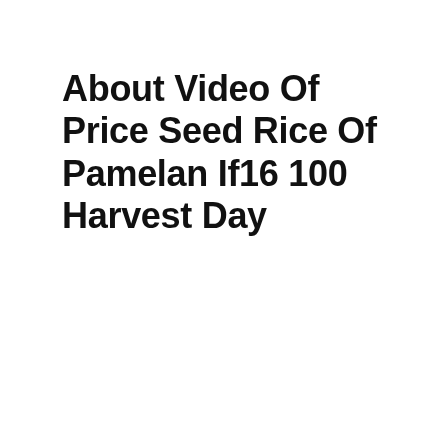About Video Of Price Seed Rice Of Pamelan If16 100 Harvest Day